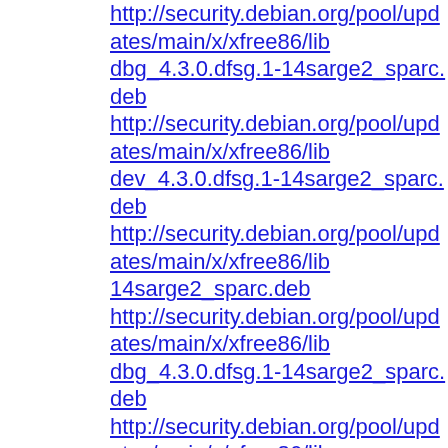http://security.debian.org/pool/updates/main/x/xfree86/libdbg_4.3.0.dfsg.1-14sarge2_sparc.deb
http://security.debian.org/pool/updates/main/x/xfree86/libdev_4.3.0.dfsg.1-14sarge2_sparc.deb
http://security.debian.org/pool/updates/main/x/xfree86/lib14sarge2_sparc.deb
http://security.debian.org/pool/updates/main/x/xfree86/libdbg_4.3.0.dfsg.1-14sarge2_sparc.deb
http://security.debian.org/pool/updates/main/x/xfree86/libdev_4.3.0.dfsg.1-14sarge2_sparc.deb
http://security.debian.org/pool/updates/main/x/xfree86/libdev_4.3.0.dfsg.1-14sarge2_sparc.deb
http://security.debian.org/pool/updates/main/x/xfree86/lib14sarge2_sparc.deb
http://security.debian.org/pool/updates/main/x/xfree86/libdbg_4.3.0.dfsg.1-14sarge2_sparc.deb
http://security.debian.org/pool/updates/main/x/xfree86/lib14sarge2_sparc.deb
http://security.debian.org/pool/updates/main/x/xfree86/lib